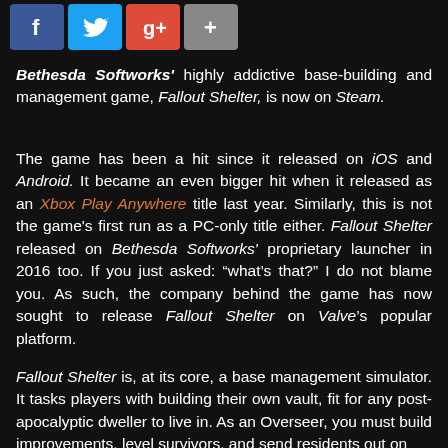[Figure (other): Social media share buttons: Facebook (blue), Twitter (cyan), Google+ (red), More (gray) icons arranged horizontally]
Bethesda Softworks' highly addictive base-building and management game, Fallout Shelter, is now on Steam.
The game has been a hit since it released on iOS and Android. It became an even bigger hit when it released as an Xbox Play Anywhere title last year. Similarly, this is not the game's first run as a PC-only title either. Fallout Shelter released on Bethesda Softworks' proprietary launcher in 2016 too. If you just asked: “what’s that?” I do not blame you. As such, the company behind the game has now sought to release Fallout Shelter on Valve’s popular platform.
Fallout Shelter is, at its core, a base management simulator. It tasks players with building their own vault, fit for any post-apocalyptic dweller to live in. As an Overseer, you must build improvements, level survivors, and send residents out on